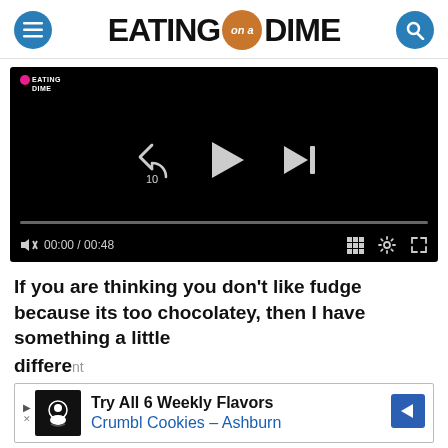EATING on a DIME
[Figure (screenshot): Video player with black background showing Eating on a Dime logo in top-left corner, playback controls (rewind 10s, play, skip next), a progress bar, mute icon, time 00:00 / 00:48, grid, settings, and fullscreen icons.]
If you are thinking you don't like fudge because its too chocolatey, then I have something a little different
[Figure (screenshot): Advertisement banner: Try All 6 Weekly Flavors Crumbl Cookies - Ashburn with a cookie icon and blue arrow]
I have a 5 ingredient peanut butter fudge recipe that